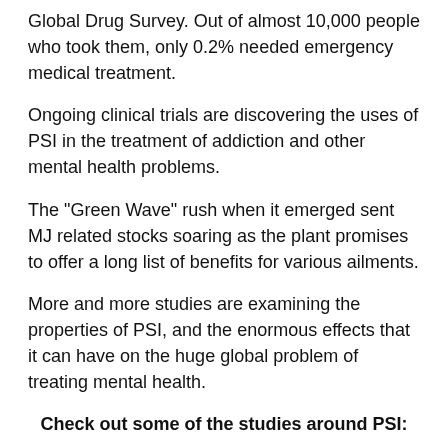Global Drug Survey. Out of almost 10,000 people who took them, only 0.2% needed emergency medical treatment.
Ongoing clinical trials are discovering the uses of PSI in the treatment of addiction and other mental health problems.
The "Green Wave" rush when it emerged sent MJ related stocks soaring as the plant promises to offer a long list of benefits for various ailments.
More and more studies are examining the properties of PSI, and the enormous effects that it can have on the huge global problem of treating mental health.
Check out some of the studies around PSI:
A single dose of the PSY ingredient in "ma*gic mushrooms" may bring long-lasting relief to